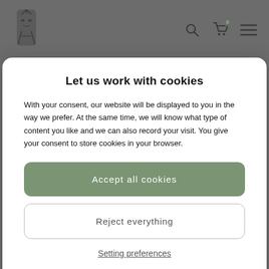[Figure (screenshot): Website header with logo (stylized figure), search icon, cart icon with badge '0', and hamburger menu icon on a grey background]
Let us work with cookies
With your consent, our website will be displayed to you in the way we prefer. At the same time, we will know what type of content you like and we can also record your visit. You give your consent to store cookies in your browser.
Accept all cookies
Reject everything
Setting preferences
Cookie Policy   Principles of protection personal data
[Figure (photo): Partially visible product photo in the lower background — appears to show red/dark items on a surface]